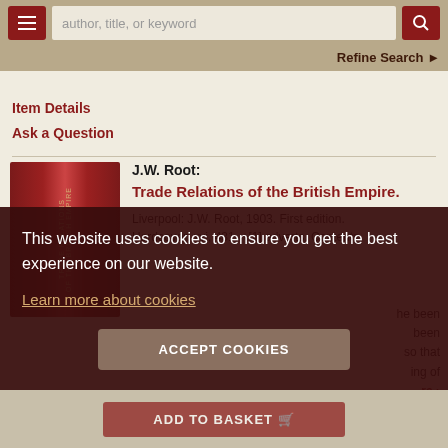author, title, or keyword | Refine Search
Item Details
Ask a Question
[Figure (photo): Red/maroon hardcover book standing upright showing spine]
J.W. Root:
Trade Relations of the British Empire.
Liverpool: J.W. Root, 1903. First edition.
Hardcover. xvi, 431, +[1] adverts. Contents
This website uses cookies to ensure you get the best experience on our website.
Learn more about cookies
ACCEPT COOKIES